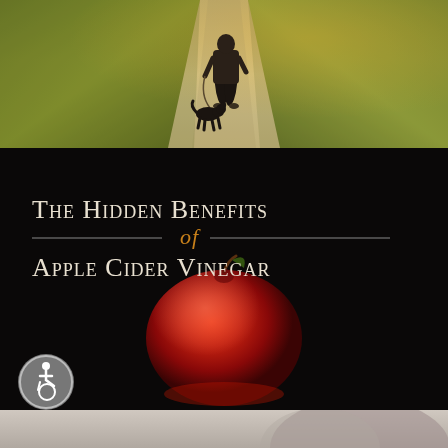[Figure (photo): Outdoor photo of a person walking a dog on a gravel path through green fields, warm golden light from the right]
[Figure (infographic): Dark promotional image with white serif small-caps text reading 'The Hidden Benefits of Apple Cider Vinegar' with a red apple and decorative divider line with italic 'of' in amber color. Accessibility icon in bottom-left corner.]
[Figure (photo): Partial view of what appears to be a person, cropped at the bottom edge of the page]